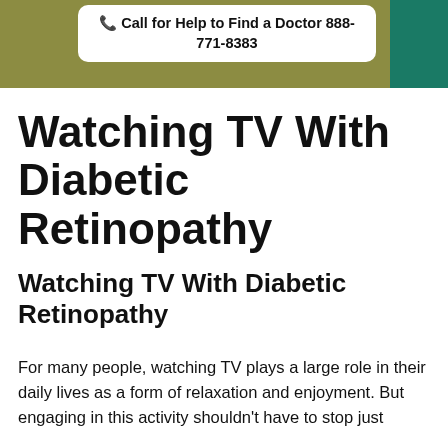Call for Help to Find a Doctor 888-771-8383
Watching TV With Diabetic Retinopathy
Watching TV With Diabetic Retinopathy
For many people, watching TV plays a large role in their daily lives as a form of relaxation and enjoyment. But engaging in this activity shouldn't have to stop just